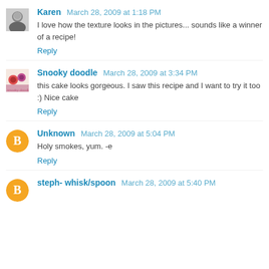[Figure (photo): Avatar photo of Karen - a woman with dark hair]
Karen March 28, 2009 at 1:18 PM
I love how the texture looks in the pictures... sounds like a winner of a recipe!
Reply
[Figure (photo): Avatar image for Snooky doodle - colorful cupcake/food themed image]
Snooky doodle March 28, 2009 at 3:34 PM
this cake looks gorgeous. I saw this recipe and I want to try it too :) Nice cake
Reply
[Figure (logo): Orange circle Blogger default avatar icon with letter B]
Unknown March 28, 2009 at 5:04 PM
Holy smokes, yum. -e
Reply
[Figure (logo): Orange circle Blogger default avatar icon with letter B]
steph- whisk/spoon March 28, 2009 at 5:40 PM